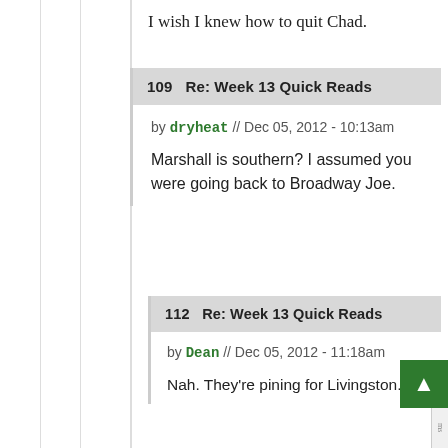I wish I knew how to quit Chad.
109   Re: Week 13 Quick Reads
by dryheat // Dec 05, 2012 - 10:13am
Marshall is southern? I assumed you were going back to Broadway Joe.
112   Re: Week 13 Quick Reads
by Dean // Dec 05, 2012 - 11:18am
Nah. They're pining for Livingston.